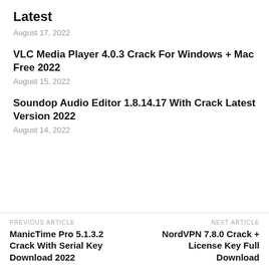Latest
August 17, 2022
VLC Media Player 4.0.3 Crack For Windows + Mac Free 2022
August 15, 2022
Soundop Audio Editor 1.8.14.17 With Crack Latest Version 2022
August 14, 2022
PREVIOUS ARTICLE
ManicTime Pro 5.1.3.2 Crack With Serial Key Download 2022
NEXT ARTICLE
NordVPN 7.8.0 Crack + License Key Full Download